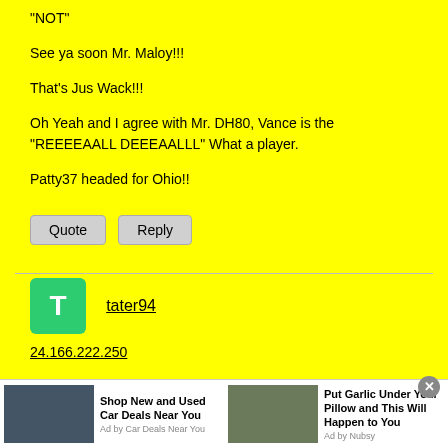"NOT"

See ya soon Mr. Maloy!!!

That's Jus Wack!!!

Oh Yeah and I agree with Mr. DH80, Vance is the "REEEEAALL DEEEAALLL" What a player.

Patty37 headed for Ohio!!
Quote   Reply
tater94
24.166.222.250
Re: Official Predictions For October 1st (POST ALL SCORES AND DETAILS HERE- NOT BELOW).
[Figure (infographic): Advertisement bar with two ads: 'Shop New and Used Car Deals Near You' by Car Deals Near You, and 'Put Garlic Under Your Pillow and This Will Happen to You' by Nubsy]